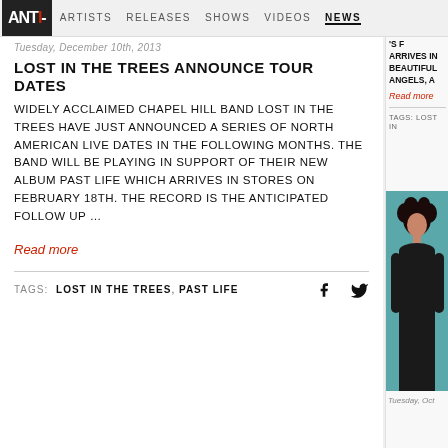ANTI- | ARTISTS | RELEASES | SHOWS | VIDEOS | NEWS
Tuesday, December 10th, 2013
LOST IN THE TREES ANNOUNCE TOUR DATES
WIDELY ACCLAIMED CHAPEL HILL BAND LOST IN THE TREES HAVE JUST ANNOUNCED A SERIES OF NORTH AMERICAN LIVE DATES IN THE FOLLOWING MONTHS. THE BAND WILL BE PLAYING IN SUPPORT OF THEIR NEW ALBUM PAST LIFE WHICH ARRIVES IN STORES ON FEBRUARY 18TH. THE RECORD IS THE ANTICIPATED FOLLOW UP …
Read more
TAGS: LOST IN THE TREES, PAST LIFE
ARRIVES IN BEAUTIFUL ANGELS, A
Read more
TAGS: LOST IN
[Figure (photo): Photo of a person with dark curly hair against a teal/blue-green background]
Tuesday, Oct